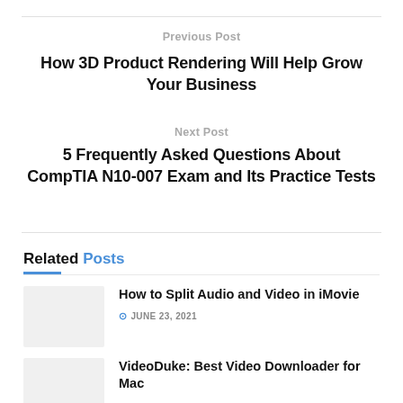Previous Post
How 3D Product Rendering Will Help Grow Your Business
Next Post
5 Frequently Asked Questions About CompTIA N10-007 Exam and Its Practice Tests
Related Posts
How to Split Audio and Video in iMovie
JUNE 23, 2021
VideoDuke: Best Video Downloader for Mac